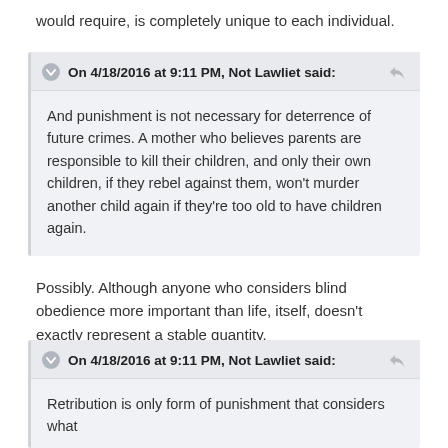would require, is completely unique to each individual.
On 4/18/2016 at 9:11 PM, Not Lawliet said:
And punishment is not necessary for deterrence of future crimes. A mother who believes parents are responsible to kill their children, and only their own children, if they rebel against them, won't murder another child again if they're too old to have children again.
Possibly. Although anyone who considers blind obedience more important than life, itself, doesn't exactly represent a stable quantity.
On 4/18/2016 at 9:11 PM, Not Lawliet said:
Retribution is only form of punishment that considers what